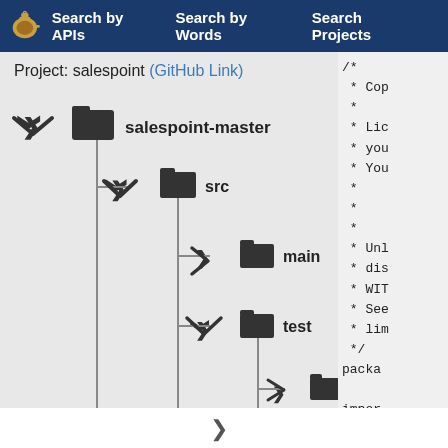Search by APIs   Search by Words   Search Projects
Project: salespoint (GitHub Link)
[Figure (other): File tree navigator showing salespoint-master project structure with directories: src > main, src > test > resources, src > test > java > example > DummyEntity.ja...]
/* * Cop * * Lic * you * You * * * * Unl * dis * WIT * See * lim */ packag import import